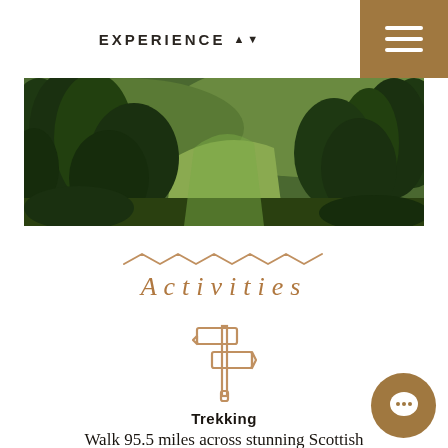EXPERIENCE ↕
[Figure (photo): Panoramic landscape photo of a Scottish valley with dense green trees and rolling hills]
[Figure (illustration): Decorative zigzag/chevron wave line in tan/gold color]
Activities
[Figure (illustration): Line icon of a signpost/trekking sign in tan/gold color]
Trekking
Walk 95.5 miles across stunning Scottish